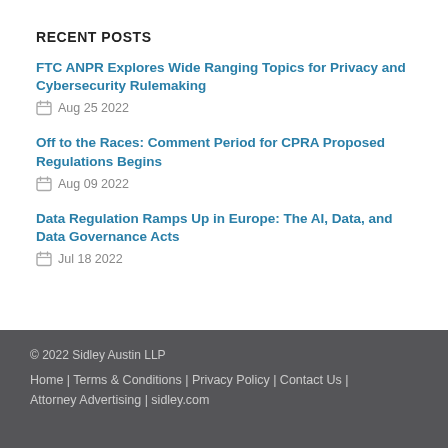RECENT POSTS
FTC ANPR Explores Wide Ranging Topics for Privacy and Cybersecurity Rulemaking
Aug 25 2022
Off to the Races: Comment Period for CPRA Proposed Regulations Begins
Aug 09 2022
Data Regulation Ramps Up in Europe: The AI, Data, and Data Governance Acts
Jul 18 2022
© 2022 Sidley Austin LLP
Home | Terms & Conditions | Privacy Policy | Contact Us | Attorney Advertising | sidley.com